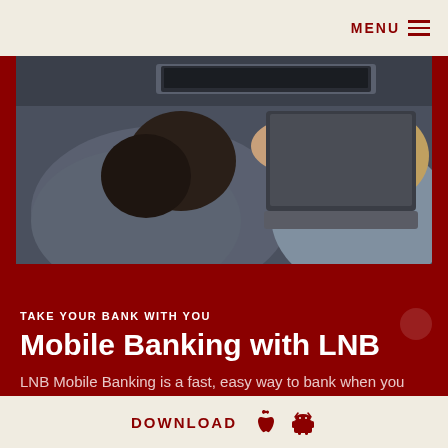MENU
[Figure (photo): Two people lying down and looking at a laptop computer, viewed from above. One person has dark curly hair wearing a grey sweater, the other has lighter curly hair. A MacBook laptop is visible.]
TAKE YOUR BANK WITH YOU
Mobile Banking with LNB
LNB Mobile Banking is a fast, easy way to bank when you want, where you want.
DOWNLOAD